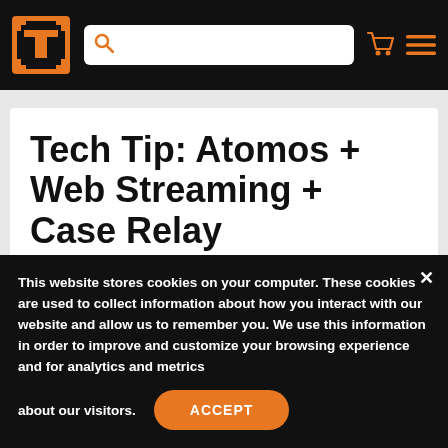[Figure (logo): Orange and black T logo in a square box with brackets]
Tech Tip: Atomos + Web Streaming + Case Relay
This website stores cookies on your computer. These cookies are used to collect information about how you interact with our website and allow us to remember you. We use this information in order to improve and customize your browsing experience and for analytics and metrics about our visitors.
ACCEPT